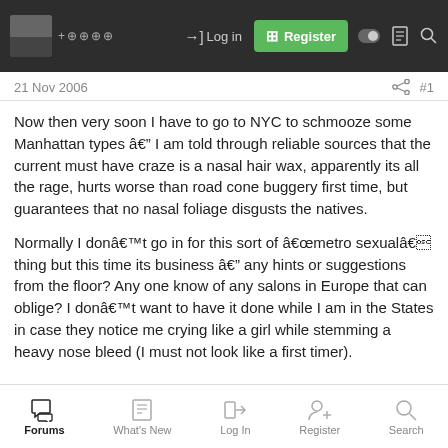Log in  Register
21 Nov 2006  #1
Now then very soon I have to go to NYC to schmooze some Manhattan types â I am told through reliable sources that the current must have craze is a nasal hair wax, apparently its all the rage, hurts worse than road cone buggery first time, but guarantees that no nasal foliage disgusts the natives.
Normally I donât go in for this sort of âmetro sexualâ thing but this time its business â any hints or suggestions from the floor? Any one know of any salons in Europe that can oblige? I donât want to have it done while I am in the States in case they notice me crying like a girl while stemming a heavy nose bleed (I must not look like a first timer).
Forums  What's New  Log In  Register  Search